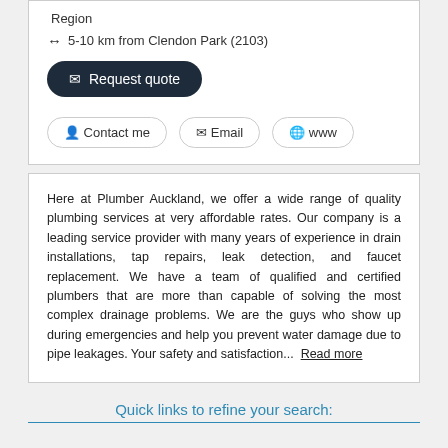Region
↔ 5-10 km from Clendon Park (2103)
✉ Request quote
👤 Contact me   ✉ Email   🌐 www
Here at Plumber Auckland, we offer a wide range of quality plumbing services at very affordable rates. Our company is a leading service provider with many years of experience in drain installations, tap repairs, leak detection, and faucet replacement. We have a team of qualified and certified plumbers that are more than capable of solving the most complex drainage problems. We are the guys who show up during emergencies and help you prevent water damage due to pipe leakages. Your safety and satisfaction... Read more
Quick links to refine your search: